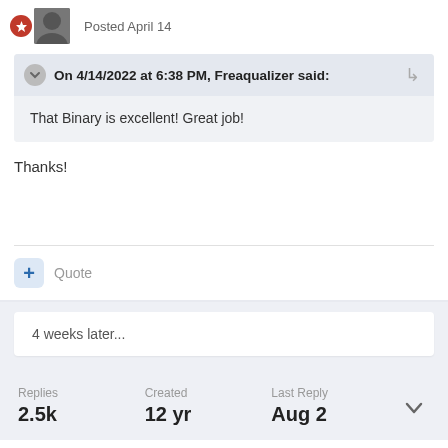Posted April 14
On 4/14/2022 at 6:38 PM, Freaqualizer said:
That Binary is excellent! Great job!
Thanks!
+ Quote
4 weeks later...
Replies 2.5k  Created 12 yr  Last Reply Aug 2